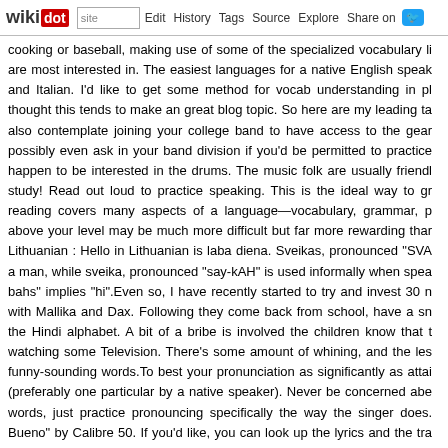wikidot | site | Edit | History | Tags | Source | Explore | Share on [Twitter]
cooking or baseball, making use of some of the specialized vocabulary li are most interested in. The easiest languages for a native English speak and Italian. I'd like to get some method for vocab understanding in pl thought this tends to make an great blog topic. So here are my leading ta also contemplate joining your college band to have access to the gear possibly even ask in your band division if you'd be permitted to practice happen to be interested in the drums. The music folk are usually friendl study! Read out loud to practice speaking. This is the ideal way to gr reading covers many aspects of a language—vocabulary, grammar, p above your level may be much more difficult but far more rewarding thar Lithuanian : Hello in Lithuanian is laba diena. Sveikas, pronounced "SVA a man, while sveika, pronounced "say-kAH" is used informally when spea bahs" implies "hi".Even so, I have recently started to try and invest 30 n with Mallika and Dax. Following they come back from school, have a sn the Hindi alphabet. A bit of a bribe is involved the children know that t watching some Television. There's some amount of whining, and the les funny-sounding words.To best your pronunciation as significantly as attai (preferably one particular by a native speaker). Never be concerned abe words, just practice pronouncing specifically the way the singer does. Bueno" by Calibre 50. If you'd like, you can look up the lyrics and the tra best to concentrate on mimicking the sounds.Some individuals are natura Don't use this as an excuse. Label everything in your home with the Fr words out loud whenever you study them. If you can, get some support. float on your back. Finding out how to float and tread water can save your or something to hold onto.In spoken Hindi these words are pronounced s वह is pronounced voh. Use यह yeh when talking about an individual or o standing appropriate subsequent to you, use वो yeh. You can purch bookstore, or from a language studying center.You can obtain a high qu